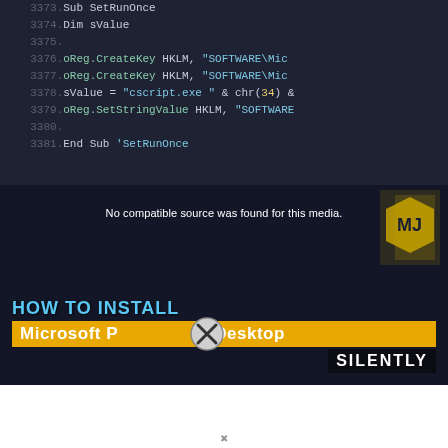[Figure (screenshot): Code editor screenshot showing VBScript/VBA code lines 3373-3381 with dark background. Lines show Sub SetRunOnce, Dim sValue, oReg.CreateKey HKLM calls, sValue assignment with cscript.exe, oReg.SetStringValue HKLM, End Sub SetRunOnce]
[Figure (screenshot): Video thumbnail/player showing 'No compatible source was found for this media.' text. Overlay shows 'HOW TO INSTALL Microsoft Power BI Desktop SILENTLY' title with yellow bar and X button. Below is an advertisement: 'Just $2 can protect 1 acre of irreplaceable forest homes in the Amazon. How many acres are you willing to protect?' with green PROTECT FORESTS NOW button.]